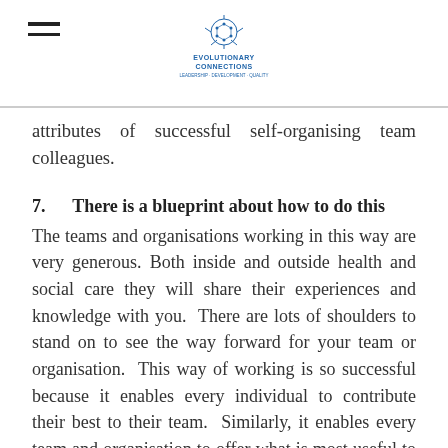Evolutionary Connections logo and hamburger menu
attributes of successful self-organising team colleagues.
7.      There is a blueprint about how to do this
The teams and organisations working in this way are very generous. Both inside and outside health and social care they will share their experiences and knowledge with you.  There are lots of shoulders to stand on to see the way forward for your team or organisation.  This way of working is so successful because it enables every individual to contribute their best to their team.  Similarly, it enables every team and organisation to offer what is most useful to the people and communities it supports. As a result,